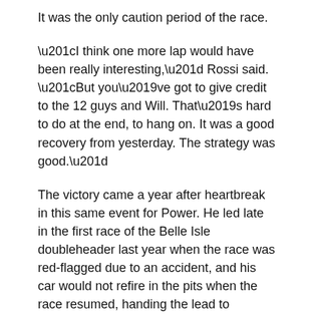It was the only caution period of the race.
“I think one more lap would have been really interesting,” Rossi said. “But you’ve got to give credit to the 12 guys and Will. That’s hard to do at the end, to hang on. It was a good recovery from yesterday. The strategy was good.”
The victory came a year after heartbreak in this same event for Power. He led late in the first race of the Belle Isle doubleheader last year when the race was red-flagged due to an accident, and his car would not refire in the pits when the race resumed, handing the lead to eventual winner Ericsson.
“Very enjoyable race because you had to chop through the field and fight hard,” Power said. “It’s just redemption from last year. I was just waiting for something to happen those last 10 laps, but I just stayed laser focused.”
The next NTT INDYCAR SERIES event is Sunday, June 11, the Sonsio Grand Prix at Road America presented by AMR in Elkhart